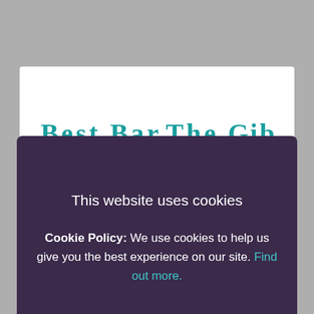This website uses cookies
Cookie Policy: We use cookies to help us give you the best experience on our site. Find out more.
I ACCEPT
I DO NOT ACCEPT
Hailing themselves as a 'journey through space and time', The Gibson is stand-out from drink to drink, and the London voters simply couldn't resist awarding